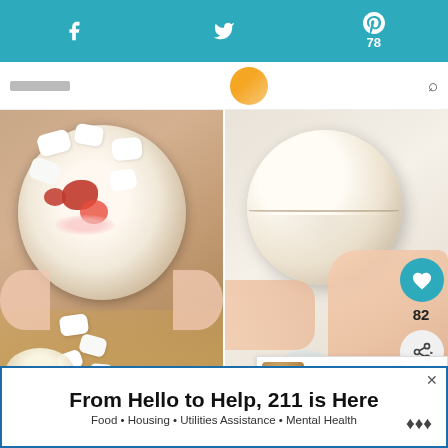Social share bar with Facebook, Twitter, Pinterest (78)
[Figure (photo): Two-panel food photo: left panel shows a white chocolate shell bowl filled with marshmallows and strawberries viewed from above on a wooden surface; right panel shows hands holding a closed white chocolate sphere ball]
WHAT'S NEXT → Strawberry Swiss Roll...
TIPS FOR MAKING HOT
From Hello to Help, 211 is Here
Food • Housing • Utilities Assistance • Mental Health